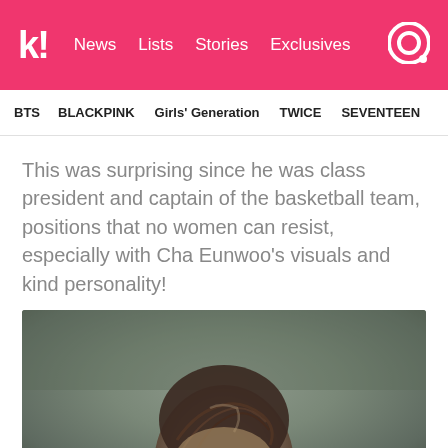k! News Lists Stories Exclusives
BTS BLACKPINK Girls' Generation TWICE SEVENTEEN
This was surprising since he was class president and captain of the basketball team, positions that no women can resist, especially with Cha Eunwoo's visuals and kind personality!
[Figure (photo): Photo of Cha Eunwoo with dark background, showing top of head with dark hair]